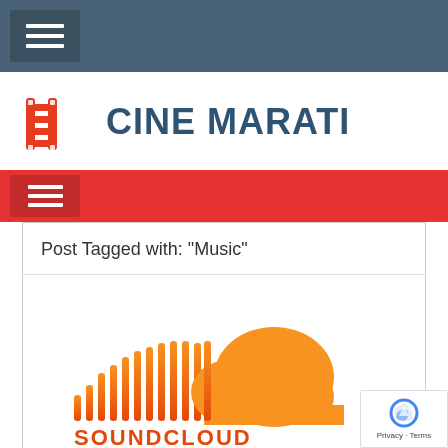Navigation menu (hamburger icon)
CINE MARATI
Navigation menu red bar (hamburger icon)
Post Tagged with: "Music"
[Figure (logo): SoundCloud logo with orange sound wave bars and cloud shape, with SOUNDCLOUD text in orange below]